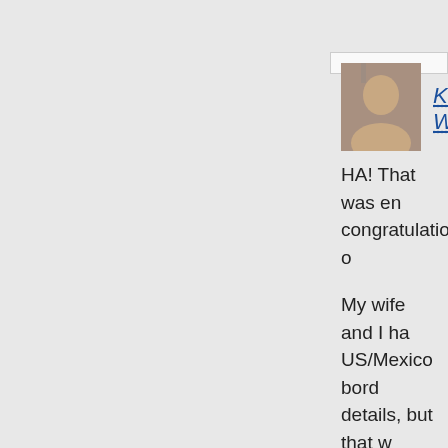[Figure (photo): Profile photo of Keith Williams showing a man's face]
Keith Wil...
HA! That was en... congratulations o...
My wife and I ha... US/Mexico bord... details, but that w...
[Figure (logo): Blue square with white power button icon - default avatar for Christina]
Christina...
Go Libras! I'm o... btw). Happy birth...
[Figure (logo): Blue square with white power button icon - default avatar for Deb]
Deb Octo...